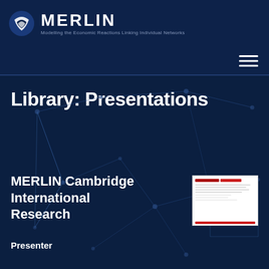[Figure (logo): MERLIN logo with circular icon and text: MERLIN - Modelling the Economic Reactions Linking Individual Networks]
[Figure (illustration): Hamburger menu icon (three horizontal white lines) in the navigation strip]
[Figure (illustration): Dark navy background with network/constellation line art connecting dots]
Library: Presentations
MERLIN Cambridge International Research
Presenter
[Figure (screenshot): Small thumbnail image of a document/presentation with red header bar and text lines]